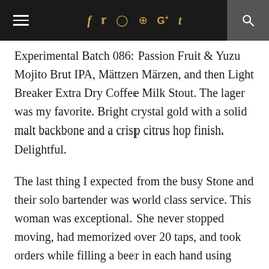≡  f  𝕥  ⊙  ⊕  G+  t  🔍
Experimental Batch 086: Passion Fruit & Yuzu Mojito Brut IPA, Mättzen Märzen, and then Light Breaker Extra Dry Coffee Milk Stout. The lager was my favorite. Bright crystal gold with a solid malt backbone and a crisp citrus hop finish. Delightful.
The last thing I expected from the busy Stone and their solo bartender was world class service. This woman was exceptional. She never stopped moving, had memorized over 20 taps, and took orders while filling a beer in each hand using every inch of her wingspan. Not only that